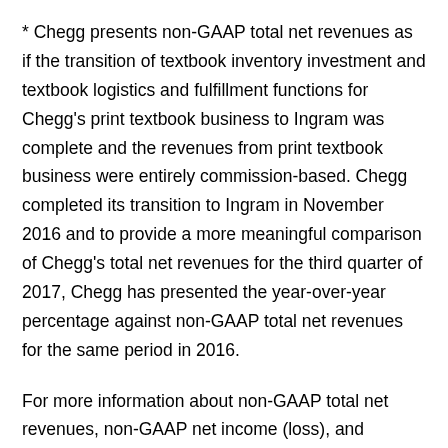* Chegg presents non-GAAP total net revenues as if the transition of textbook inventory investment and textbook logistics and fulfillment functions for Chegg's print textbook business to Ingram was complete and the revenues from print textbook business were entirely commission-based. Chegg completed its transition to Ingram in November 2016 and to provide a more meaningful comparison of Chegg's total net revenues for the third quarter of 2017, Chegg has presented the year-over-year percentage against non-GAAP total net revenues for the same period in 2016.
For more information about non-GAAP total net revenues, non-GAAP net income (loss), and